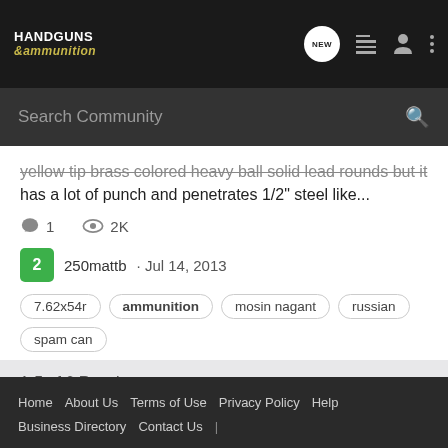HANDGUNS &ammunition — NEW
Search Community
yellow tip brass colored heavy ball solid lead rounds but it has a lot of punch and penetrates 1/2" steel like...
1    2K
2  250mattb · Jul 14, 2013
7.62x54r   ammunition   mosin nagant   russian   spam can
1-5 of 6 Results
< Search
Home   About Us   Terms of Use   Privacy Policy   Help   Business Directory   Contact Us   |